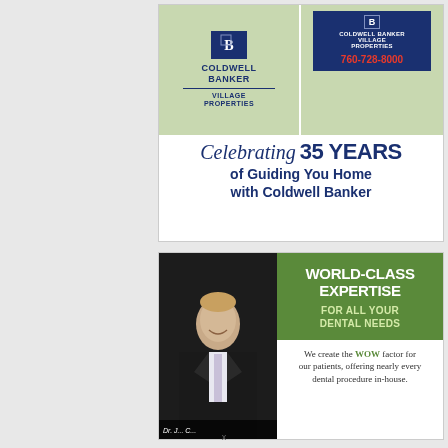[Figure (illustration): Coldwell Banker Village Properties advertisement. Two property sign images side by side at top. Left shows CB logo with 'Coldwell Banker Village Properties' text. Right shows a yard sign with '760-728-8000' phone number in red. Below reads 'Celebrating 35 YEARS of Guiding You Home with Coldwell Banker' in navy blue.]
[Figure (illustration): Dental office advertisement. Left side shows a man in a dark suit smiling. Right side has green banner reading 'WORLD-CLASS EXPERTISE FOR ALL YOUR DENTAL NEEDS'. Below in white section: 'We create the WOW factor for our patients, offering nearly every dental procedure in-house.']
x